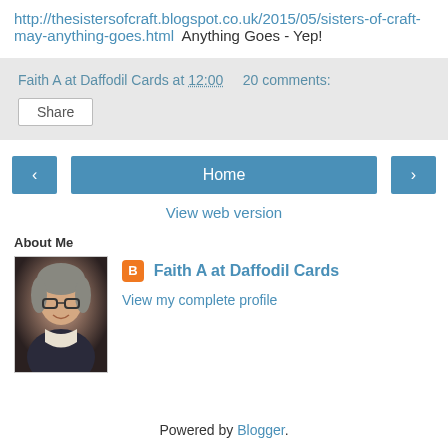http://thesistersofcraft.blogspot.co.uk/2015/05/sisters-of-craft-may-anything-goes.html  Anything Goes - Yep!
Faith A at Daffodil Cards at 12:00   20 comments:
Share
‹   Home   ›
View web version
About Me
[Figure (photo): Profile photo of Faith A at Daffodil Cards, a woman with short grey hair and glasses, smiling.]
Faith A at Daffodil Cards
View my complete profile
Powered by Blogger.